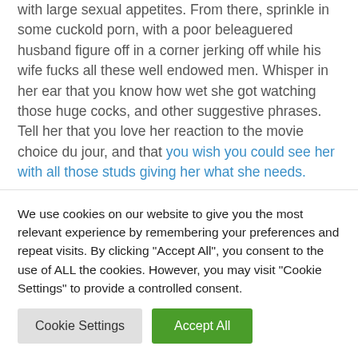with large sexual appetites. From there, sprinkle in some cuckold porn, with a poor beleaguered husband figure off in a corner jerking off while his wife fucks all these well endowed men. Whisper in her ear that you know how wet she got watching those huge cocks, and other suggestive phrases. Tell her that you love her reaction to the movie choice du jour, and that you wish you could see her with all those studs giving her what she needs.
Make a regular part of your sex life include talking about watching your wife fuck other men.
We use cookies on our website to give you the most relevant experience by remembering your preferences and repeat visits. By clicking "Accept All", you consent to the use of ALL the cookies. However, you may visit "Cookie Settings" to provide a controlled consent.